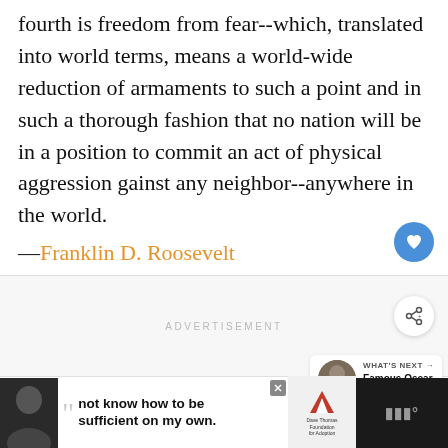fourth is freedom from fear--which, translated into world terms, means a world-wide reduction of armaments to such a point and in such a thorough fashion that no nation will be in a position to commit an act of physical aggression gainst any neighbor--anywhere in the world. —Franklin D. Roosevelt
[Figure (screenshot): Advertisement section with label ADVERTISEMENT and UI buttons (heart/like button in blue, share button)]
[Figure (screenshot): Bottom navigation bar with 'WHAT'S NEXT → Famous Oscar Wilde Quote...' promo and advertisement banner reading 'not know how to be sufficient on my own.' with Dave Thomas Foundation for Adoption logo]